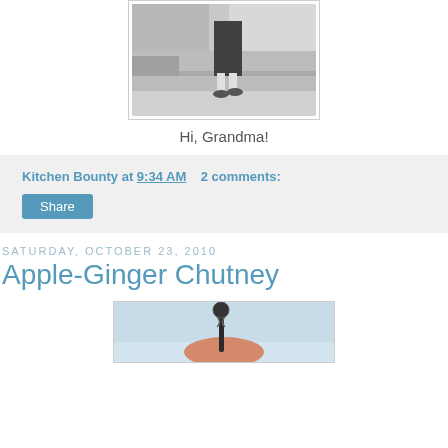[Figure (photo): Black and white photo of a person's lower body walking on a sidewalk near a brick building. The person is wearing a dark skirt and shoes.]
Hi, Grandma!
Kitchen Bounty at 9:34 AM    2 comments:
Share
Saturday, October 23, 2010
Apple-Ginger Chutney
[Figure (photo): Color photo of what appears to be a hand holding or near a decorative spoon or kitchen utensil against a light blue sky background.]